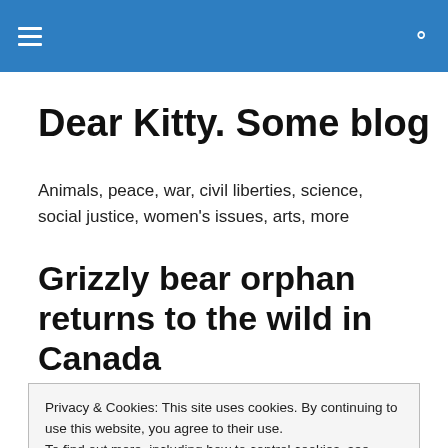Dear Kitty. Some blog — navigation header
Dear Kitty. Some blog
Animals, peace, war, civil liberties, science, social justice, women's issues, arts, more
Grizzly bear orphan returns to the wild in Canada
Privacy & Cookies: This site uses cookies. By continuing to use this website, you agree to their use.
To find out more, including how to control cookies, see here: Cookie Policy
Close and accept